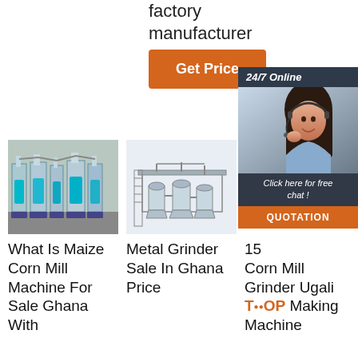factory manufacturer
[Figure (other): Orange 'Get Price' button]
[Figure (other): 24/7 Online chat widget with female agent wearing headset, 'Click here for free chat!' text, and orange QUOTATION button]
[Figure (photo): Photo of maize corn mill machinery in a factory]
What Is Maize Corn Mill Machine For Sale Ghana With
[Figure (photo): Photo of metal grinder industrial machinery on white background]
Metal Grinder Sale In Ghana Price
15 Corn Mill Grinder Ugali TOP Making Machine